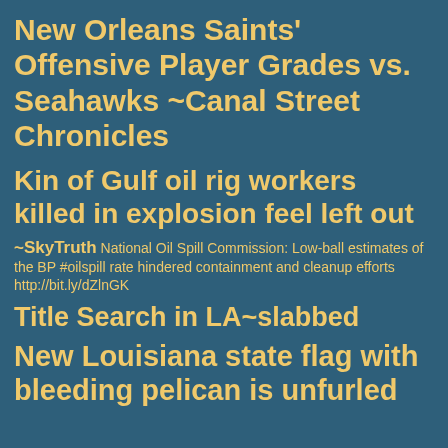New Orleans Saints' Offensive Player Grades vs. Seahawks ~Canal Street Chronicles
Kin of Gulf oil rig workers killed in explosion feel left out
~SkyTruth National Oil Spill Commission: Low-ball estimates of the BP #oilspill rate hindered containment and cleanup efforts http://bit.ly/dZlnGK
Title Search in LA~slabbed
New Louisiana state flag with bleeding pelican is unfurled